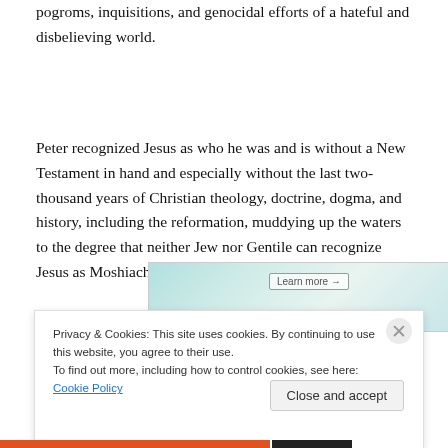pogroms, inquisitions, and genocidal efforts of a hateful and disbelieving world.
Peter recognized Jesus as who he was and is without a New Testament in hand and especially without the last two-thousand years of Christian theology, doctrine, dogma, and history, including the reformation, muddying up the waters to the degree that neither Jew nor Gentile can recognize Jesus as Moshiach any longer.
[Figure (other): Partial advertisement banner with colorful background and 'Learn more' button]
Privacy & Cookies: This site uses cookies. By continuing to use this website, you agree to their use.
To find out more, including how to control cookies, see here: Cookie Policy
Close and accept